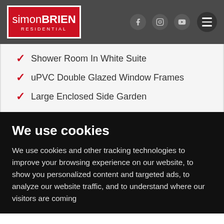simon BRIEN RESIDENTIAL
Shower Room In White Suite
uPVC Double Glazed Window Frames
Large Enclosed Side Garden
We use cookies
We use cookies and other tracking technologies to improve your browsing experience on our website, to show you personalized content and targeted ads, to analyze our website traffic, and to understand where our visitors are coming